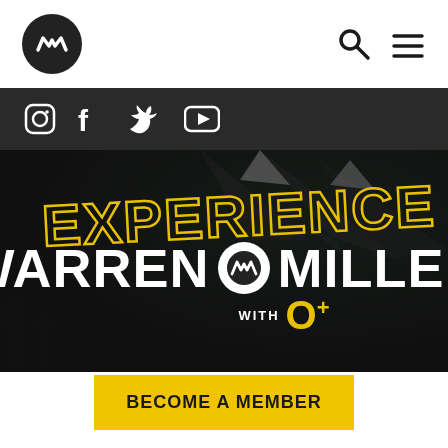[Figure (logo): Warren Miller circular logo with M waveform on black circle background, top left navigation bar]
[Figure (screenshot): Navigation bar with search icon and hamburger menu on the right side]
[Figure (infographic): Dark social media icons bar: Instagram, Facebook, Twitter, YouTube icons in white on dark background]
[Figure (photo): Hero banner showing skier silhouette against snowy mountain background with dark overlay. Large text reads EXPERIENCE WARREN MILLER with WM logo and O+ branding]
BECOME A MEMBER